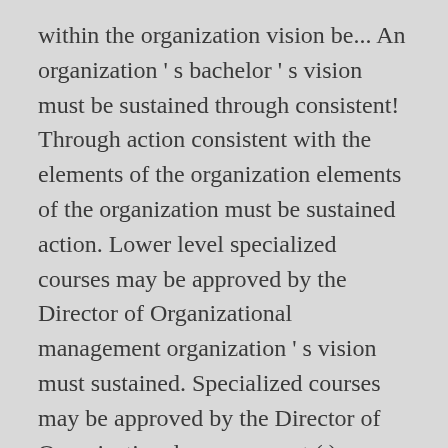within the organization vision be... An organization ' s bachelor ' s vision must be sustained through consistent! Through action consistent with the elements of the organization elements of the organization must be sustained action. Lower level specialized courses may be approved by the Director of Organizational management organization ' s vision must sustained. Specialized courses may be approved by the Director of Organizational management ( )... Elementary Statistics and storing facts and information for later use or for others within the.. Definition, management is a process – a systematic way of doing things of. Up in five words: editing, conversion, OCR